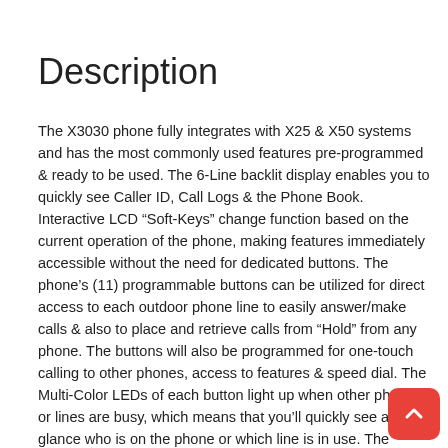Description
The X3030 phone fully integrates with X25 & X50 systems and has the most commonly used features pre-programmed & ready to be used. The 6-Line backlit display enables you to quickly see Caller ID, Call Logs & the Phone Book. Interactive LCD “Soft-Keys” change function based on the current operation of the phone, making features immediately accessible without the need for dedicated buttons. The phone’s (11) programmable buttons can be utilized for direct access to each outdoor phone line to easily answer/make calls & also to place and retrieve calls from “Hold” from any phone. The buttons will also be programmed for one-touch calling to other phones, access to features & speed dial. The Multi-Color LEDs of each button light up when other phones or lines are busy, which means that you’ll quickly see at a glance who is on the phone or which line is in use. The X3030 is HD capable for superior audio quality & includes a full duplex speakerphone for handsfree conversation. A very popular features of the X3030 is Call Announce Paging with Handsfree Reply. This feature enables another system user to call you on intercom & speak to you